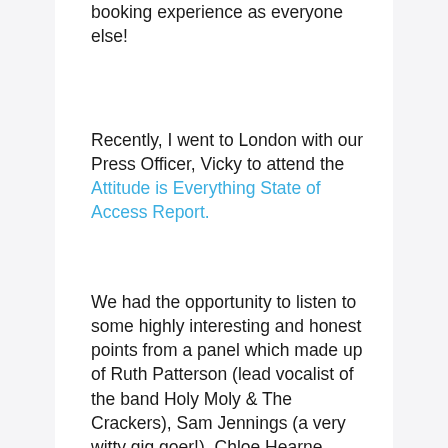booking experience as everyone else!
Recently, I went to London with our Press Officer, Vicky to attend the Attitude is Everything State of Access Report.
We had the opportunity to listen to some highly interesting and honest points from a panel which made up of Ruth Patterson (lead vocalist of the band Holy Moly & The Crackers), Sam Jennings (a very witty gig goer!), Chloe Hearne (Ticketing Manager of the Roundhouse LDN) & Jonathan Brown (STAR).